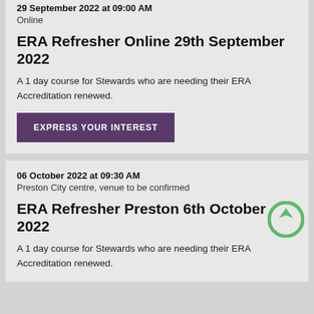29 September 2022 at 09:00 AM
Online
ERA Refresher Online 29th September 2022
A 1 day course for Stewards who are needing their ERA Accreditation renewed.
EXPRESS YOUR INTEREST
06 October 2022 at 09:30 AM
Preston City centre, venue to be confirmed
ERA Refresher Preston 6th October 2022
A 1 day course for Stewards who are needing their ERA Accreditation renewed.